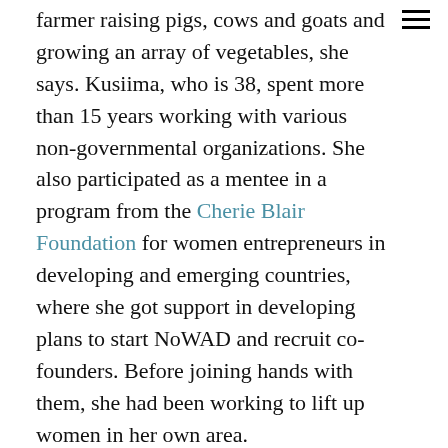farmer raising pigs, cows and goats and growing an array of vegetables, she says. Kusiima, who is 38, spent more than 15 years working with various non-governmental organizations. She also participated as a mentee in a program from the Cherie Blair Foundation for women entrepreneurs in developing and emerging countries, where she got support in developing plans to start NoWAD and recruit co-founders. Before joining hands with them, she had been working to lift up women in her own area.
Luswata, who is also 38, left a 9-year career in banking in 2010 and has been working in her community teaching financial literacy and doing social work ever since. Her farm has pigs, cows, chickens, turkeys and fruit trees.
“I’ve always enjoyed working in the community, and that’s